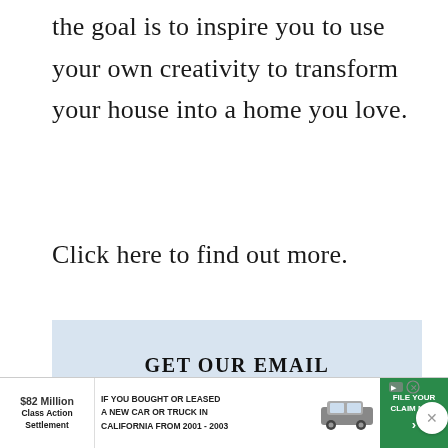the goal is to inspire you to use your own creativity to transform your house into a home you love.
Click here to find out more.
GET OUR EMAIL
[Figure (infographic): Sign-up email subscription banner with envelope icon, text reading 'SIGN ME UP! I Want To Be THE FIRST TO KNOW' in blue and pink colors]
[Figure (infographic): Advertisement banner: '$82 Million Class Action Settlement - IF YOU BOUGHT OR LEASED A NEW CAR OR TRUCK IN CALIFORNIA FROM 2001 - 2003 - FILE YOUR CLAIM NOW']